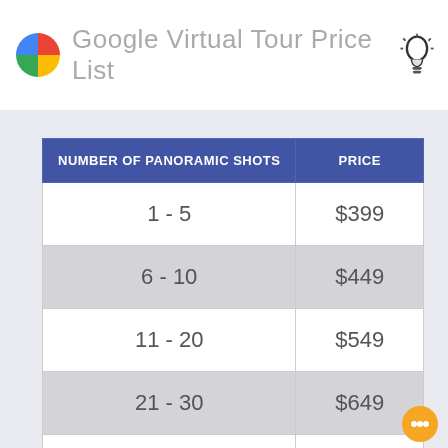Google Virtual Tour Price List
| NUMBER OF PANORAMIC SHOTS | PRICE |
| --- | --- |
| 1 - 5 | $399 |
| 6 - 10 | $449 |
| 11 - 20 | $549 |
| 21 - 30 | $649 |
| 31 - 40 | $749 |